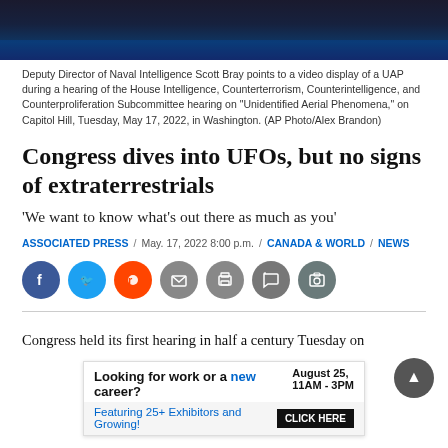[Figure (photo): Dark blue/navy photo bar showing a video display screen, from a Congressional hearing on UAPs]
Deputy Director of Naval Intelligence Scott Bray points to a video display of a UAP during a hearing of the House Intelligence, Counterterrorism, Counterintelligence, and Counterproliferation Subcommittee hearing on “Unidentified Aerial Phenomena,” on Capitol Hill, Tuesday, May 17, 2022, in Washington. (AP Photo/Alex Brandon)
Congress dives into UFOs, but no signs of extraterrestrials
‘We want to know what’s out there as much as you’
ASSOCIATED PRESS / May. 17, 2022 8:00 p.m. / CANADA & WORLD / NEWS
[Figure (other): Social media share buttons: Facebook, Twitter, Reddit, Email, Print, Comment, Photo gallery]
Congress held its first hearing in half a century Tuesday on
[Figure (other): Advertisement banner: Looking for work or a new career? August 25, 11AM-3PM. Featuring 25+ Exhibitors and Growing! CLICK HERE]